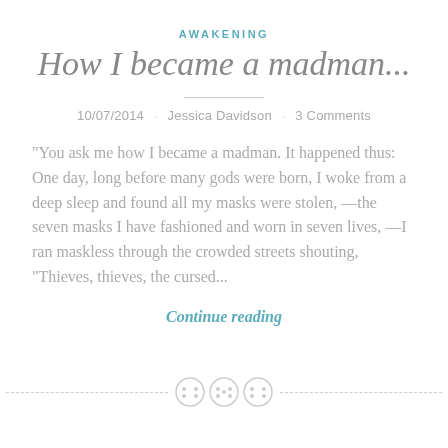AWAKENING
How I became a madman...
10/07/2014 · Jessica Davidson · 3 Comments
“You ask me how I became a madman. It happened thus: One day, long before many gods were born, I woke from a deep sleep and found all my masks were stolen, —the seven masks I have fashioned and worn in seven lives, —I ran maskless through the crowded streets shouting, “Thieves, thieves, the cursed...
Continue reading
[Figure (illustration): Three decorative button icons in a row centered on a dashed horizontal divider line]